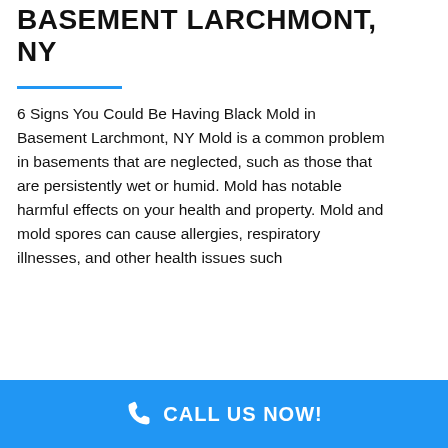BASEMENT LARCHMONT, NY
6 Signs You Could Be Having Black Mold in Basement Larchmont, NY Mold is a common problem in basements that are neglected, such as those that are persistently wet or humid. Mold has notable harmful effects on your health and property. Mold and mold spores can cause allergies, respiratory illnesses, and other health issues such
READ MORE
CALL US NOW!